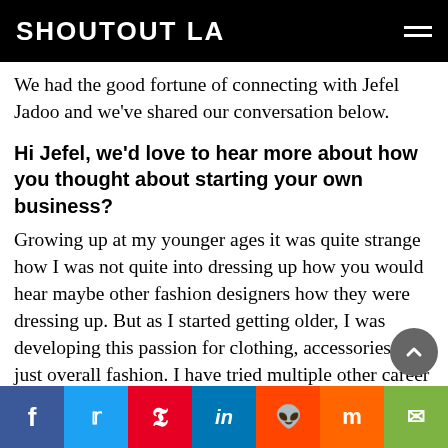SHOUTOUT LA
We had the good fortune of connecting with Jefel Jadoo and we've shared our conversation below.
Hi Jefel, we'd love to hear more about how you thought about starting your own business?
Growing up at my younger ages it was quite strange how I was not quite into dressing up how you would hear maybe other fashion designers how they were dressing up. But as I started getting older, I was developing this passion for clothing, accessories and just overall fashion. I have tried multiple other career in
f  t  p  in  reddit  m  email